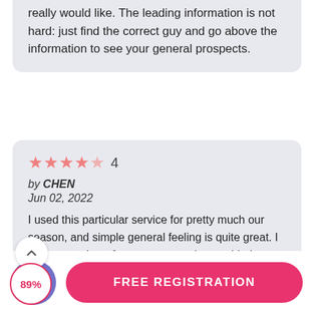really would like. The leading information is not hard: just find the correct guy and go above the information to see your general prospects.
4 stars — by CHEN, Jun 02, 2022
I used this particular service for pretty much our season, and simple general feeling is quite great. I have a number of goes, even so they umbled on almost nothing. I carried on my program since interactions with good friends
FREE REGISTRATION